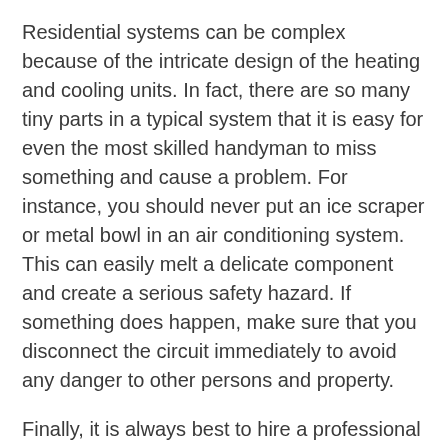Residential systems can be complex because of the intricate design of the heating and cooling units. In fact, there are so many tiny parts in a typical system that it is easy for even the most skilled handyman to miss something and cause a problem. For instance, you should never put an ice scraper or metal bowl in an air conditioning system. This can easily melt a delicate component and create a serious safety hazard. If something does happen, make sure that you disconnect the circuit immediately to avoid any danger to other persons and property.
Finally, it is always best to hire a professional rather than try to do it yourself. When you take on residential AC system installation in West Palm Beach FL, servicing, and maintenance, you